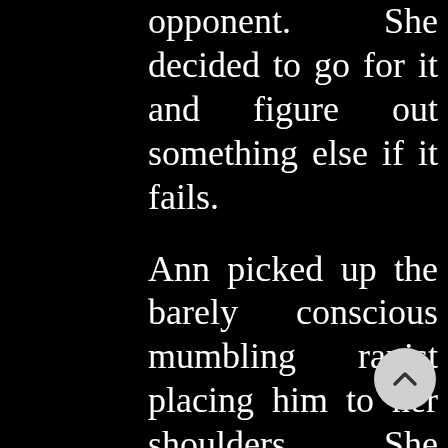opponent. She decided to go for it and figure out something else if it fails.

Ann picked up the barely conscious mumbling rapist placing him to her shoulders. She ordered him to be still while giving his testicles a short and sh squeeze. Regardless the